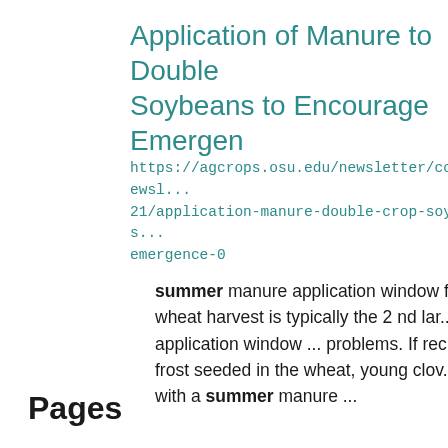Application of Manure to Double Soybeans to Encourage Emergence
https://agcrops.osu.edu/newsletter/corn-newsletter/21/application-manure-double-crop-soybeans-emergence-0
summer manure application window f... wheat harvest is typically the 2 nd lar... application window ... problems. If rec... frost seeded in the wheat, young clov... with a summer manure ...
Pages